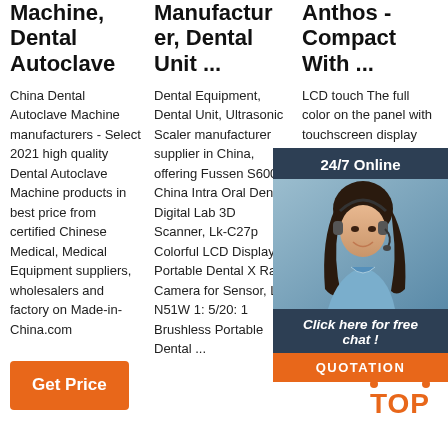Machine, Dental Autoclave
Manufacturer, Dental Unit ...
Anthos - Compact With ...
China Dental Autoclave Machine manufacturers - Select 2021 high quality Dental Autoclave Machine products in best price from certified Chinese Medical, Medical Equipment suppliers, wholesalers and factory on Made-in-China.com
Dental Equipment, Dental Unit, Ultrasonic Scaler manufacturer supplier in China, offering Fussen S6000 China Intra Oral Dental Digital Lab 3D Scanner, Lk-C27p Colorful LCD Display Portable Dental X Ray Camera for Sensor, Lk-N51W 1: 5/20: 1 Brushless Portable Dental ...
LCD touch The full color on the panel with touchscreen display design intuitive Activate control immediately the display clear information on the functions used. Each individual instrument and all integrated devices can be easily and
[Figure (other): 24/7 Online chat widget with woman wearing headset, dark background, orange QUOTATION button, and 'Click here for free chat!' text]
[Figure (other): Orange TOP badge with arc dots above the text]
Get Price